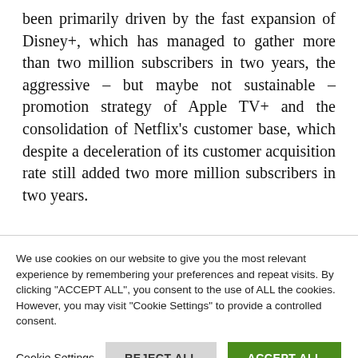been primarily driven by the fast expansion of Disney+, which has managed to gather more than two million subscribers in two years, the aggressive – but maybe not sustainable – promotion strategy of Apple TV+ and the consolidation of Netflix's customer base, which despite a deceleration of its customer acquisition rate still added two more million subscribers in two years.
We use cookies on our website to give you the most relevant experience by remembering your preferences and repeat visits. By clicking "ACCEPT ALL", you consent to the use of ALL the cookies. However, you may visit "Cookie Settings" to provide a controlled consent.
Cookie Settings | REJECT ALL | ACCEPT ALL